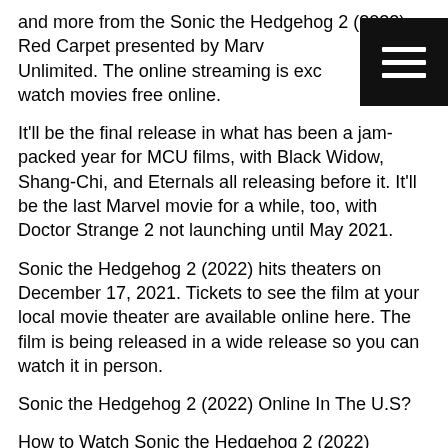and more from the Sonic the Hedgehog 2 (2022) Red Carpet presented by Marvel Unlimited. The online streaming is exc to watch movies free online.
[Figure (other): Black hamburger menu button with three horizontal white bars, top right corner]
It'll be the final release in what has been a jam-packed year for MCU films, with Black Widow, Shang-Chi, and Eternals all releasing before it. It'll be the last Marvel movie for a while, too, with Doctor Strange 2 not launching until May 2021.
Sonic the Hedgehog 2 (2022) hits theaters on December 17, 2021. Tickets to see the film at your local movie theater are available online here. The film is being released in a wide release so you can watch it in person.
Sonic the Hedgehog 2 (2022) Online In The U.S?
How to Watch Sonic the Hedgehog 2 (2022) streaming Online for Free?
Is Sonic the Hedgehog 2 (2022) on Streaming?